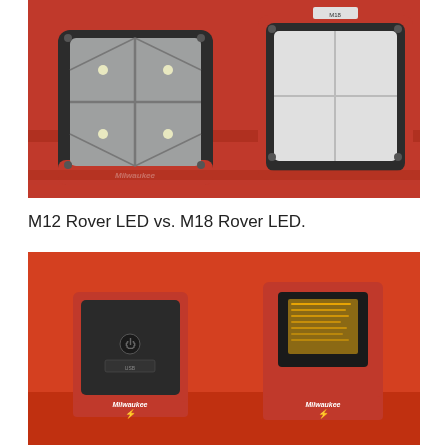[Figure (photo): Two Milwaukee Rover LED work lights (M12 and M18 models) shown from below/front angle, one with dark housing and quad LED panel with Milwaukee branding, one with red housing and single LED panel, displayed on a red metal rack]
M12 Rover LED vs. M18 Rover LED.
[Figure (photo): Two Milwaukee M18 Rover LED work lights shown from below on a red surface, one showing the front face with power button and USB port and Milwaukee logo, the other showing the back/battery compartment side with Milwaukee branding]